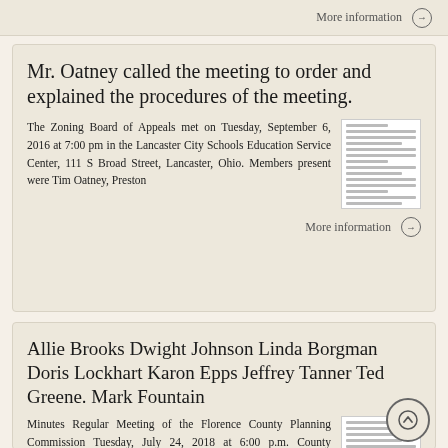More information →
Mr. Oatney called the meeting to order and explained the procedures of the meeting.
The Zoning Board of Appeals met on Tuesday, September 6, 2016 at 7:00 pm in the Lancaster City Schools Education Service Center, 111 S Broad Street, Lancaster, Ohio. Members present were Tim Oatney, Preston
More information →
Allie Brooks Dwight Johnson Linda Borgman Doris Lockhart Karon Epps Jeffrey Tanner Ted Greene. Mark Fountain
Minutes Regular Meeting of the Florence County Planning Commission Tuesday, July 24, 2018 at 6:00 p.m. County Complex,